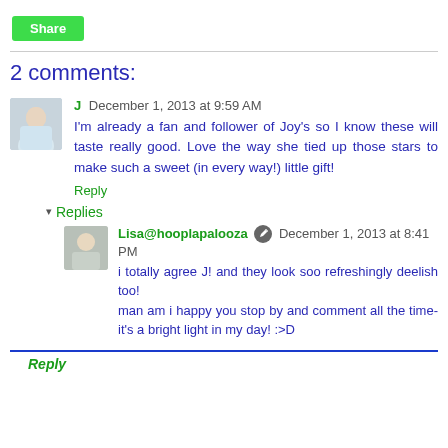Share
2 comments:
J December 1, 2013 at 9:59 AM
I'm already a fan and follower of Joy's so I know these will taste really good. Love the way she tied up those stars to make such a sweet (in every way!) little gift!
Reply
Replies
Lisa@hooplapalooza December 1, 2013 at 8:41 PM
i totally agree J! and they look soo refreshingly deelish too!
man am i happy you stop by and comment all the time-it's a bright light in my day! :>D
Reply